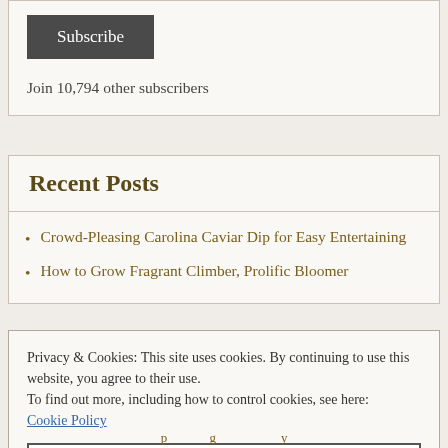[Figure (other): Subscribe button — dark grey button with white text 'Subscribe']
Join 10,794 other subscribers
Recent Posts
Crowd-Pleasing Carolina Caviar Dip for Easy Entertaining
How to Grow Fragrant Climber, Prolific Bloomer
Privacy & Cookies: This site uses cookies. By continuing to use this website, you agree to their use.
To find out more, including how to control cookies, see here:
Cookie Policy
[Figure (other): Close and accept button]